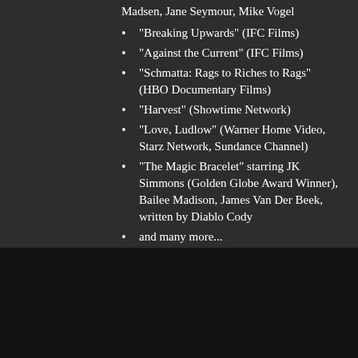Madsen, Jane Seymour, Mike Vogel
"Breaking Upwards" (IFC Films)
"Against the Current" (IFC Films)
"Schmatta: Rags to Riches to Rags" (HBO Documentary Films)
"Harvest" (Showtime Network)
"Love, Ludlow" (Warner Home Video, Starz Network, Sundance Channel)
"The Magic Bracelet" starring JK Simmons (Golden Globe Award Winner), Bailee Madison, James Van Der Beek, written by Diablo Cody
and many more...